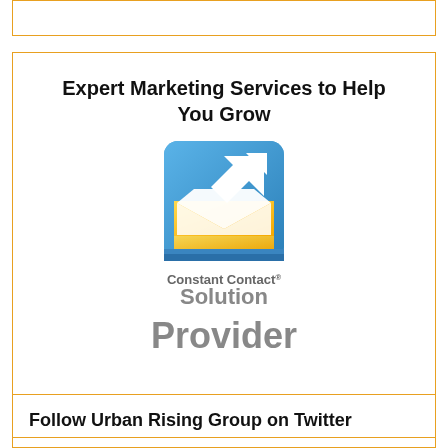[Figure (other): Empty orange-bordered box at the top of the page]
Expert Marketing Services to Help You Grow
[Figure (logo): Constant Contact Solution Provider logo — blue square with white upward arrow and yellow/gold envelope shape, with text 'Constant Contact® Solution Provider' below]
Follow Urban Rising Group on Twitter